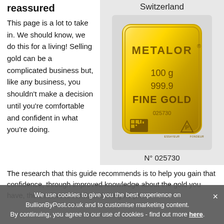reassured
This page is a lot to take in. We should know, we do this for a living! Selling gold can be a complicated business but, like any business, you shouldn't make a decision until you're comfortable and confident in what you're doing.
[Figure (photo): A Metalor 100g 999.9 Fine Gold bar, serial number 025730, with QR code and assay mark, displayed in a plastic case on a grey background with 'Switzerland' label and 'N° 025730' serial below.]
The research that this guide recommends is to help you gain that confidence, through improved knowledge about the gold you have, the dealers around, and the gold price.
We use cookies to give you the best experience on BullionByPost.co.uk and to customise marketing content. By continuing, you agree to our use of cookies - find out more here.